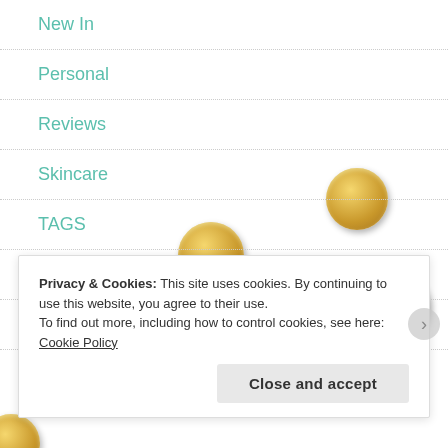New In
Personal
Reviews
Skincare
TAGS
Tips
Unboxing
[Figure (illustration): Decorative gold coin circles scattered across the page]
Privacy & Cookies: This site uses cookies. By continuing to use this website, you agree to their use.
To find out more, including how to control cookies, see here: Cookie Policy
Close and accept